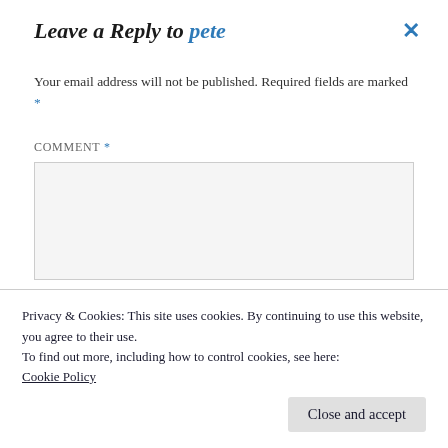Leave a Reply to pete
Your email address will not be published. Required fields are marked *
COMMENT *
Privacy & Cookies: This site uses cookies. By continuing to use this website, you agree to their use.
To find out more, including how to control cookies, see here:
Cookie Policy
Close and accept